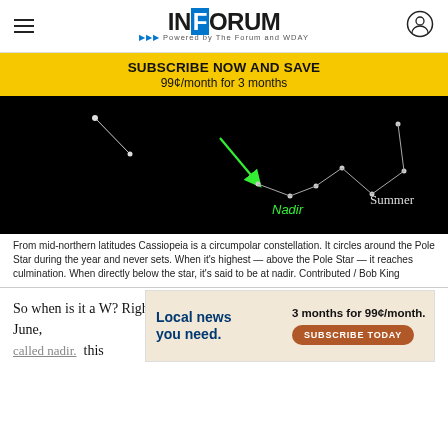INFORUM - Powered by The Forum and WDAY
SUBSCRIBE NOW AND SAVE
99¢/month for 3 months
[Figure (photo): Constellation diagram showing Cassiopeia star pattern on a black background with a green arrow pointing to the nadir position and 'Summer' label on the right side]
From mid-northern latitudes Cassiopeia is a circumpolar constellation. It circles around the Pole Star during the year and never sets. When it's highest — above the Pole Star — it reaches culmination. When directly below the star, it's said to be at nadir. Contributed / Bob King
So when is it a W? Right now as it turns out. In June, just after reaching its lowest point called nadir. In this
[Figure (infographic): Advertisement overlay: 'Local news you need.' with '3 months for 99¢/month.' and orange 'SUBSCRIBE TODAY' button]